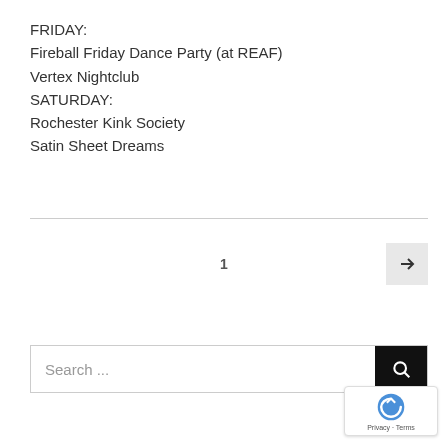FRIDAY:
Fireball Friday Dance Party (at REAF)
Vertex Nightclub
SATURDAY:
Rochester Kink Society
Satin Sheet Dreams
1  →
Search ...